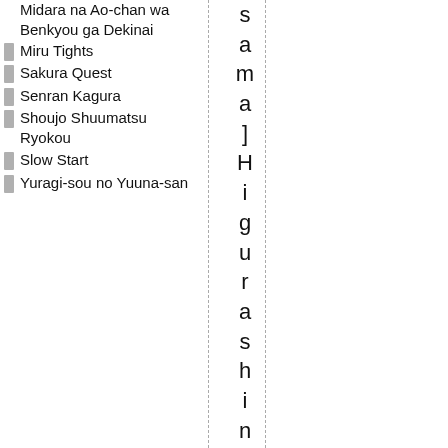Midara na Ao-chan wa Benkyou ga Dekinai
Miru Tights
Sakura Quest
Senran Kagura
Shoujo Shuumatsu Ryokou
Slow Start
Yuragi-sou no Yuuna-san
sama]HigurashinoNaku